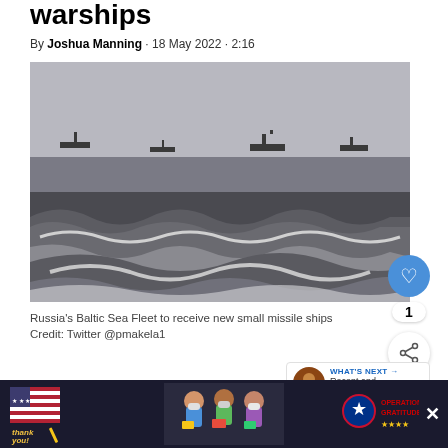warships
By Joshua Manning · 18 May 2022 · 2:16
[Figure (photo): Black and white photograph of Russia's Baltic Sea Fleet showing multiple warships on a rough sea with large waves in the foreground]
Russia's Baltic Sea Fleet to receive new small missile ships
Credit: Twitter @pmakela1
Russia's Baltic Sea Fleet is set to receive new warships in 2022 with more than 30
[Figure (photo): Advertisement banner: Operation Gratitude thank you campaign with people wearing masks holding packages]